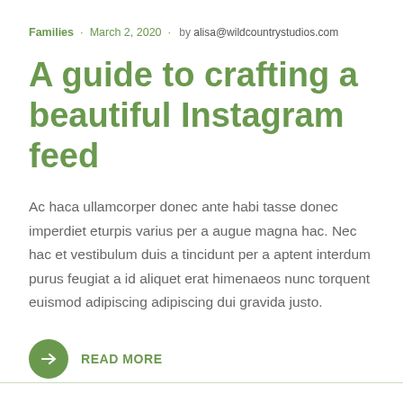Families · March 2, 2020 · by alisa@wildcountrystudios.com
A guide to crafting a beautiful Instagram feed
Ac haca ullamcorper donec ante habi tasse donec imperdiet eturpis varius per a augue magna hac. Nec hac et vestibulum duis a tincidunt per a aptent interdum purus feugiat a id aliquet erat himenaeos nunc torquent euismod adipiscing adipiscing dui gravida justo.
READ MORE